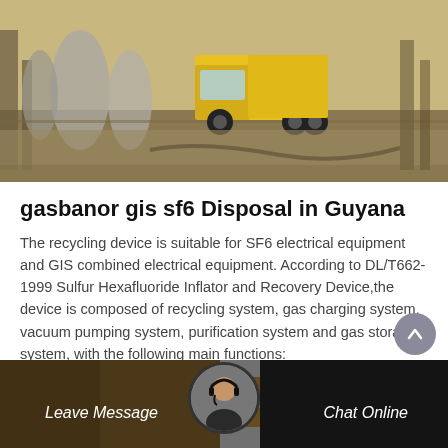[Figure (photo): Yellow truck on an industrial site road with large cylindrical storage tanks or equipment in background]
gasbanor gis sf6 Disposal in Guyana
The recycling device is suitable for SF6 electrical equipment and GIS combined electrical equipment. According to DL/T662-1999 Sulfur Hexafluoride Inflator and Recovery Device,the device is composed of recycling system, gas charging system, vacuum pumping system, purification system and gas storage system, with the following main functions:
[Figure (other): Get Price button — amber/orange colored button with italic white text]
[Figure (other): Bottom navigation bar with Leave Message and Chat Online options, customer service avatar in center, dark background with industrial photo]